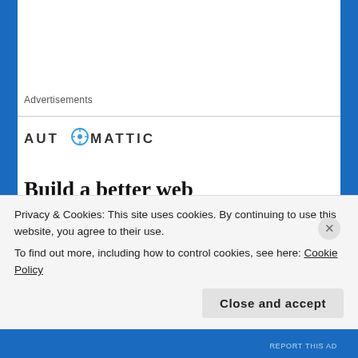Advertisements
[Figure (logo): Automattic logo with compass icon between AUT and MATTIC text]
Build a better web and a better world.
Privacy & Cookies: This site uses cookies. By continuing to use this website, you agree to their use.
To find out more, including how to control cookies, see here: Cookie Policy
Close and accept